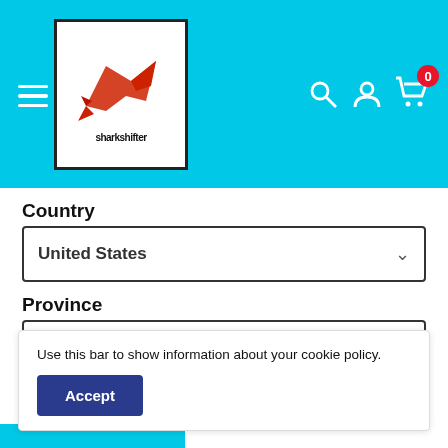[Figure (logo): Sharkshifter logo with red shark graphic on white background with black border]
Country
United States
Province
Alabama
Zip code
Use this bar to show information about your cookie policy.
Accept